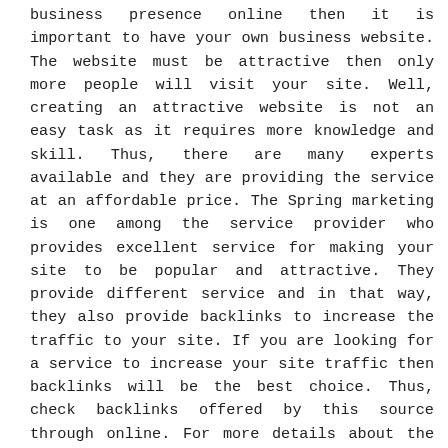business presence online then it is important to have your own business website. The website must be attractive then only more people will visit your site. Well, creating an attractive website is not an easy task as it requires more knowledge and skill. Thus, there are many experts available and they are providing the service at an affordable price. The Spring marketing is one among the service provider who provides excellent service for making your site to be popular and attractive. They provide different service and in that way, they also provide backlinks to increase the traffic to your site. If you are looking for a service to increase your site traffic then backlinks will be the best choice. Thus, check backlinks offered by this source through online. For more details about the source and services offered by it, access the site through online. The site will provide all the required details and the price of the service.